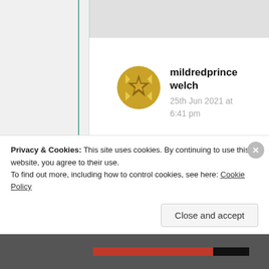[Figure (illustration): Golden/yellow star-shaped decorative avatar icon for user mildredprincewelch]
mildredprince welch
25th Jun 2021 at 6:41 pm
We all cry sometimes or another, tears manifest from happiness but, by
Privacy & Cookies: This site uses cookies. By continuing to use this website, you agree to their use.
To find out more, including how to control cookies, see here: Cookie Policy
Close and accept